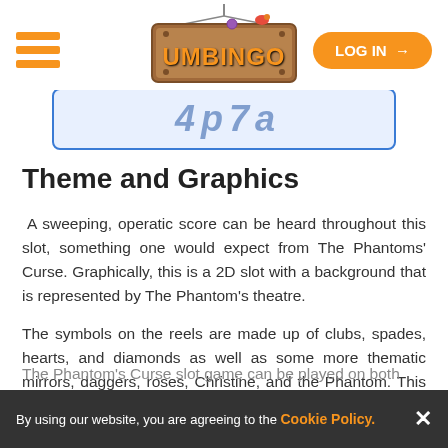[Figure (logo): Umbingo logo - wooden sign with colorful text and decorative bird]
[Figure (screenshot): Partially visible banner with blue border showing payment or promo text]
Theme and Graphics
A sweeping, operatic score can be heard throughout this slot, something one would expect from The Phantoms' Curse. Graphically, this is a 2D slot with a background that is represented by The Phantom's theatre.
The symbols on the reels are made up of clubs, spades, hearts, and diamonds as well as some more thematic mirrors, daggers, roses, Christine, and the Phantom. This Phantom will pay out the most at 36x the player's stake for 5 across a pay line.
The Phantom's Curse slot game can be played on both
By using our website, you are agreeing to the Cookie Policy.